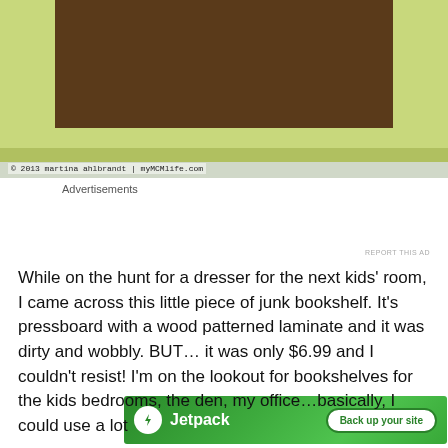[Figure (photo): Close-up photo of a light green painted bookshelf with a dark wood-patterned laminate back panel, sitting on a light gray/concrete floor. The shelf has one visible shelf board inside. A copyright watermark reads: © 2013 martina ahlbrandt | myMCMlife.com]
© 2013 martina ahlbrandt | myMCMlife.com
Advertisements
[Figure (other): Jetpack advertisement banner with green gradient background. Shows Jetpack logo (white circle with lightning bolt) and text 'Jetpack' in white, with a white button on the right reading 'Back up your site' in green text.]
REPORT THIS AD
While on the hunt for a dresser for the next kids' room, I came across this little piece of junk bookshelf. It's pressboard with a wood patterned laminate and it was dirty and wobbly. BUT… it was only $6.99 and I couldn't resist! I'm on the lookout for bookshelves for the kids bedrooms, the den, my office…basically, I could use a lot